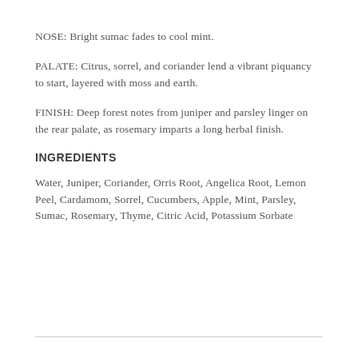NOSE: Bright sumac fades to cool mint.
PALATE: Citrus, sorrel, and coriander lend a vibrant piquancy to start, layered with moss and earth.
FINISH: Deep forest notes from juniper and parsley linger on the rear palate, as rosemary imparts a long herbal finish.
INGREDIENTS
Water, Juniper, Coriander, Orris Root, Angelica Root, Lemon Peel, Cardamom, Sorrel, Cucumbers, Apple, Mint, Parsley, Sumac, Rosemary, Thyme, Citric Acid, Potassium Sorbate